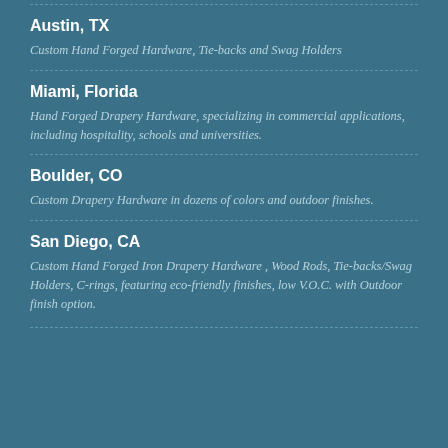Austin, TX
Custom Hand Forged Hardware, Tie-backs and Swag Holders
Miami, Florida
Hand Forged Drapery Hardware, specializing in commercial applications, including hospitality, schools and universities.
Boulder, CO
Custom Drapery Hardware in dozens of colors and outdoor finishes.
San Diego, CA
Custom Hand Forged Iron Drapery Hardware , Wood Rods, Tie-backs/Swag Holders, C-rings, featuring eco-friendly finishes, low V.O.C. with Outdoor finish option.